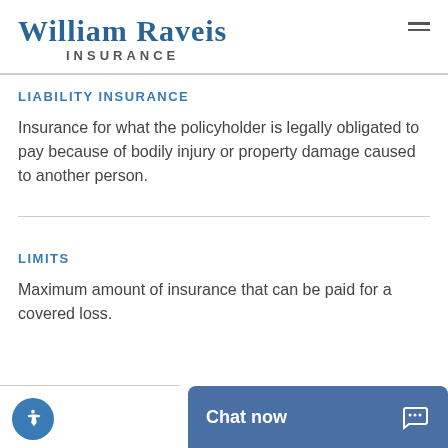William Raveis Insurance
LIABILITY INSURANCE
Insurance for what the policyholder is legally obligated to pay because of bodily injury or property damage caused to another person.
LIMITS
Maximum amount of insurance that can be paid for a covered loss.